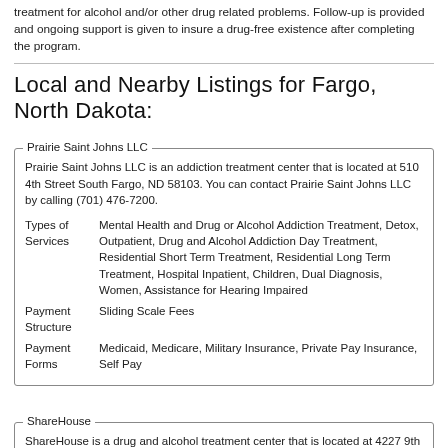treatment for alcohol and/or other drug related problems. Follow-up is provided and ongoing support is given to insure a drug-free existence after completing the program.
Local and Nearby Listings for Fargo, North Dakota:
Prairie Saint Johns LLC is an addiction treatment center that is located at 510 4th Street South Fargo, ND 58103. You can contact Prairie Saint Johns LLC by calling (701) 476-7200.
| Field | Value |
| --- | --- |
| Types of Services | Mental Health and Drug or Alcohol Addiction Treatment, Detox, Outpatient, Drug and Alcohol Addiction Day Treatment, Residential Short Term Treatment, Residential Long Term Treatment, Hospital Inpatient, Children, Dual Diagnosis, Women, Assistance for Hearing Impaired |
| Payment Structure | Sliding Scale Fees |
| Payment Forms | Medicaid, Medicare, Military Insurance, Private Pay Insurance, Self Pay |
ShareHouse is a drug and alcohol treatment center that is located at 4227 9th Avenue Fargo, ND 58103. You can contact ShareHouse by calling (701)